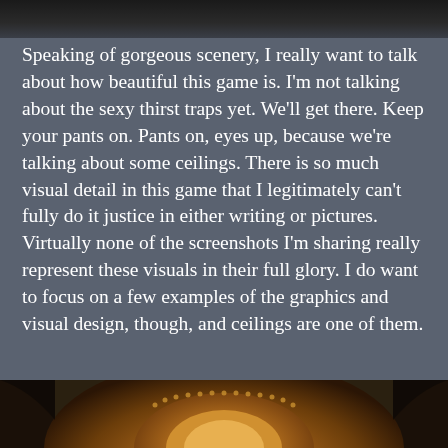[Figure (screenshot): Top portion of a game screenshot, dark/black image cropped at top of page]
Speaking of gorgeous scenery, I really want to talk about how beautiful this game is. I'm not talking about the sexy thirst traps yet. We'll get there. Keep your pants on. Pants on, eyes up, because we're talking about some ceilings. There is so much visual detail in this game that I legitimately can't fully do it justice in either writing or pictures. Virtually none of the screenshots I'm sharing really represent these visuals in their full glory. I do want to focus on a few examples of the graphics and visual design, though, and ceilings are one of them.
[Figure (screenshot): Bottom portion of a game screenshot showing ornate golden/amber ceiling detail with decorative circular motif, dark fantasy aesthetic]